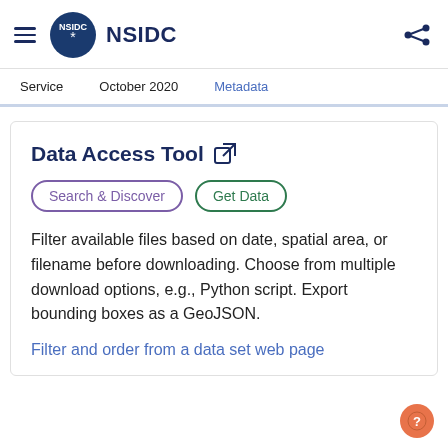NSIDC
Service   October 2020   Metadata
Data Access Tool
Search & Discover   Get Data
Filter available files based on date, spatial area, or filename before downloading. Choose from multiple download options, e.g., Python script. Export bounding boxes as a GeoJSON.
Filter and order from a data set web page